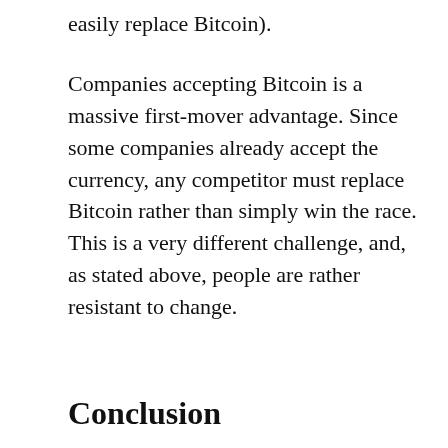easily replace Bitcoin).
Companies accepting Bitcoin is a massive first-mover advantage. Since some companies already accept the currency, any competitor must replace Bitcoin rather than simply win the race. This is a very different challenge, and, as stated above, people are rather resistant to change.
Conclusion
The blockchain is, no doubt, a revolutionary technology. It will revolutionize finance, and in some ways, it already has. There is always debate as to whether the Internet has created a